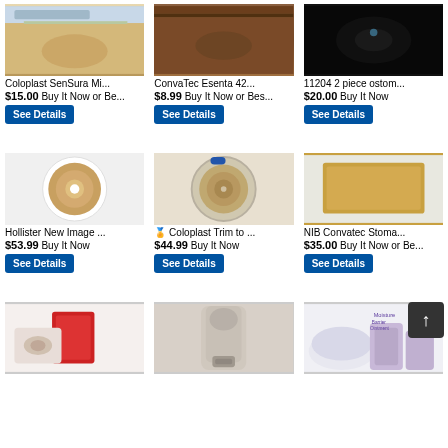[Figure (photo): Coloplast SenSura Mi product packaging photo]
Coloplast SenSura Mi...
$15.00 Buy It Now or Be...
[Figure (photo): ConvaTec Esenta 42 product on wooden surface]
ConvaTec Esenta 42...
$8.99 Buy It Now or Bes...
[Figure (photo): 11204 2 piece ostomy product, dark background]
11204 2 piece ostom...
$20.00 Buy It Now
[Figure (photo): Hollister New Image ostomy baseplate, circular, beige]
Hollister New Image ...
$53.99 Buy It Now
[Figure (photo): Coloplast Trim to fit ostomy baseplate, circular]
Coloplast Trim to ...
$44.99 Buy It Now
[Figure (photo): NIB Convatec Stoma product, golden square barrier]
NIB Convatec Stoma...
$35.00 Buy It Now or Be...
[Figure (photo): Ostomy pouch system with red box packaging]
[Figure (photo): Ostomy pouch drainage system]
[Figure (photo): Moisture Barrier Ointment products with white container]